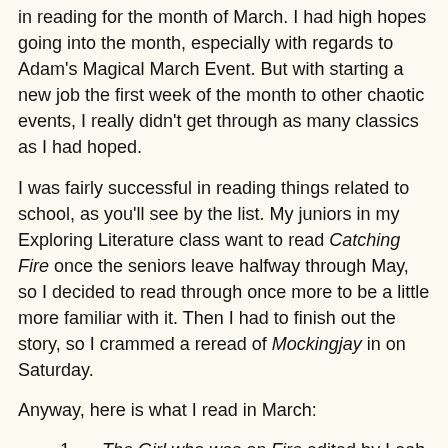in reading for the month of March. I had high hopes going into the month, especially with regards to Adam's Magical March Event. But with starting a new job the first week of the month to other chaotic events, I really didn't get through as many classics as I had hoped.
I was fairly successful in reading things related to school, as you'll see by the list. My juniors in my Exploring Literature class want to read Catching Fire once the seniors leave halfway through May, so I decided to read through once more to be a little more familiar with it. Then I had to finish out the story, so I crammed a reread of Mockingjay in on Saturday.
Anyway, here is what I read in March:
The Girl who was on Fire edited by Leah Wilson (Read to plan for The Hunger Games unit I'm teaching)
The Hunger Games by Suzanne Collins
A Clockwork Orange by Anthony Burgess
Journey to the Center of the Earth by Jules Verne
Catching Fire by Suzanne Collins